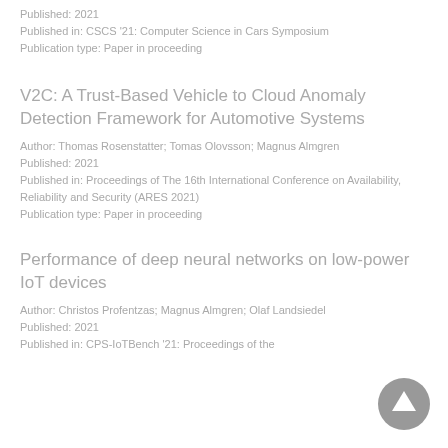Published: 2021
Published in: CSCS '21: Computer Science in Cars Symposium
Publication type: Paper in proceeding
V2C: A Trust-Based Vehicle to Cloud Anomaly Detection Framework for Automotive Systems
Author: Thomas Rosenstatter; Tomas Olovsson; Magnus Almgren
Published: 2021
Published in: Proceedings of The 16th International Conference on Availability, Reliability and Security (ARES 2021)
Publication type: Paper in proceeding
Performance of deep neural networks on low-power IoT devices
Author: Christos Profentzas; Magnus Almgren; Olaf Landsiedel
Published: 2021
Published in: CPS-IoTBench '21: Proceedings of the